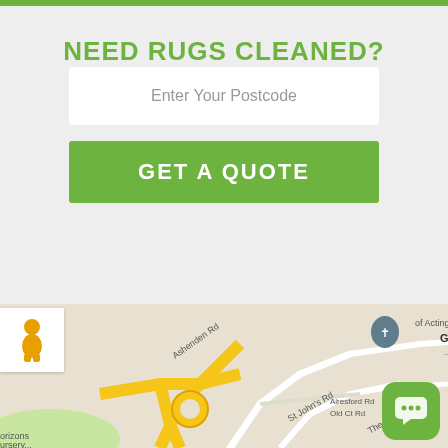NEED RUGS CLEANED?
Enter Your Postcode
GET A QUOTE
[Figure (map): Google Maps screenshot showing Guildford Cathedral area with roads including Ashenden Rd, St John's Rd, Alresford Rd, Old Ct Rd, and The Chase. Roads are shown in yellow and white on a light background. A location pin marks Guildford Cathedral.]